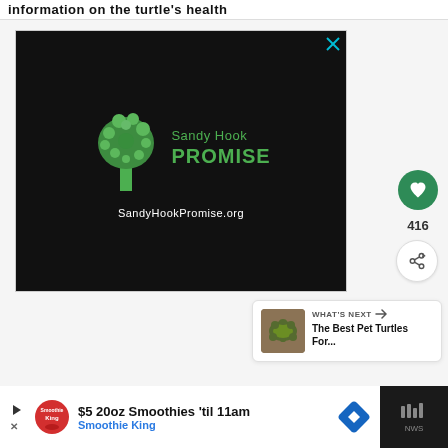information on the turtle's health
[Figure (logo): Sandy Hook Promise advertisement on black background with green tree logo made of hands, text 'Sandy Hook PROMISE' and URL 'SandyHookPromise.org']
416
[Figure (infographic): What's Next card showing turtle thumbnail with text 'WHAT'S NEXT → The Best Pet Turtles For...']
[Figure (infographic): Bottom advertisement bar: '$5 20oz Smoothies 'til 11am Smoothie King' with Smoothie King logo and navigation icon]